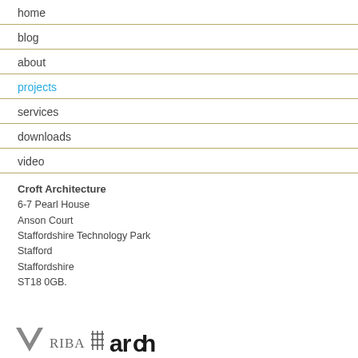home
blog
about
projects
services
downloads
video
Croft Architecture
6-7 Pearl House
Anson Court
Staffordshire Technology Park
Stafford
Staffordshire
ST18 0GB.
[Figure (logo): Logos: a triangular V-shape logo, RIBA text logo with grid symbol, and 'arch' bold text logo]